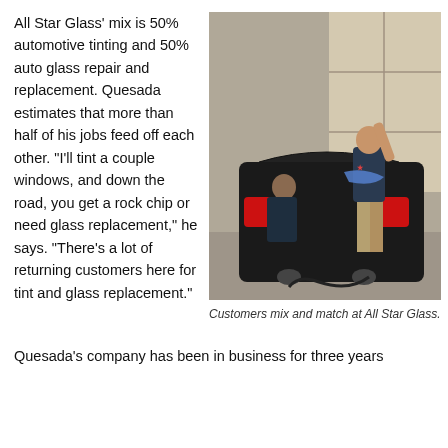All Star Glass' mix is 50% automotive tinting and 50% auto glass repair and replacement. Quesada estimates that more than half of his jobs feed off each other. “I’ll tint a couple windows, and down the road, you get a rock chip or need glass replacement,” he says. “There’s a lot of returning customers here for tint and glass replacement.”
[Figure (photo): A mechanic in a dark shirt and khaki pants works on the rear of a black sports car (appears to be a Ford Mustang Shelby) inside a garage. Another person is visible in the background seated. Tools and cords are on the floor.]
Customers mix and match at All Star Glass.
Quesada’s company has been in business for three years